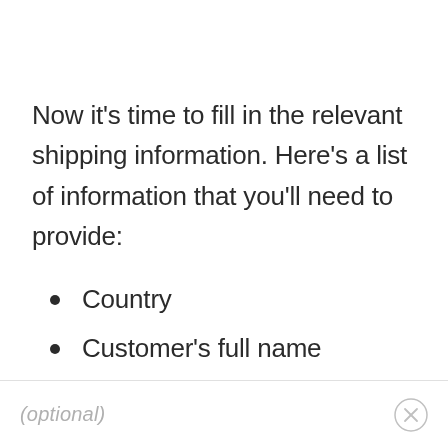Now it’s time to fill in the relevant shipping information. Here’s a list of information that you’ll need to provide:
Country
Customer’s full name
More address information
(optional)